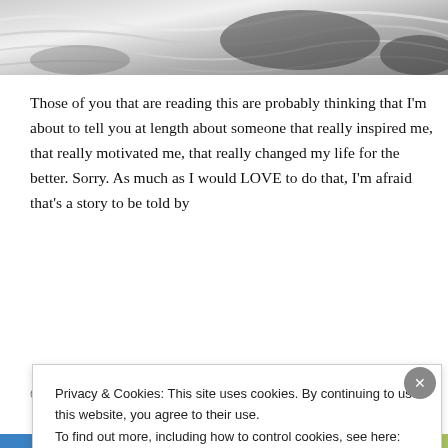[Figure (photo): Close-up photograph of snow or ice texture with dark shadows and white ridges, cropped at top of page]
Those of you that are reading this are probably thinking that I'm about to tell you at length about someone that really inspired me, that really motivated me, that really changed my life for the better. Sorry. As much as I would LOVE to do that, I'm afraid that's a story to be told by
Continue reading
Privacy & Cookies: This site uses cookies. By continuing to use this website, you agree to their use.
To find out more, including how to control cookies, see here: Cookie Policy
Close and accept